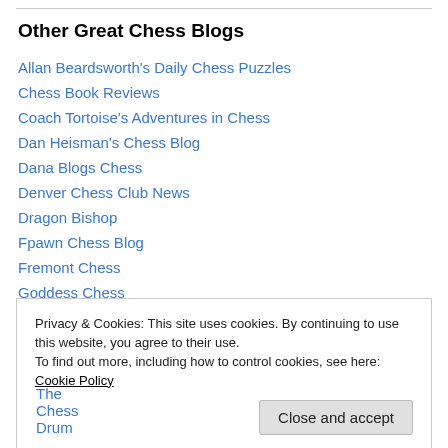Other Great Chess Blogs
Allan Beardsworth's Daily Chess Puzzles
Chess Book Reviews
Coach Tortoise's Adventures in Chess
Dan Heisman's Chess Blog
Dana Blogs Chess
Denver Chess Club News
Dragon Bishop
Fpawn Chess Blog
Fremont Chess
Goddess Chess
Privacy & Cookies: This site uses cookies. By continuing to use this website, you agree to their use.
To find out more, including how to control cookies, see here: Cookie Policy
The Chess Drum